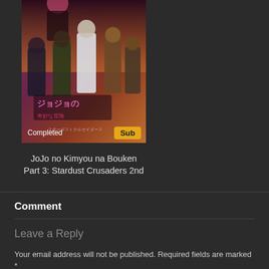[Figure (illustration): Anime poster for JoJo no Kimyou na Bouken Part 3: Stardust Crusaders 2nd with 'Completed' label and 'Sub' badge]
JoJo no Kimyou na Bouken Part 3: Stardust Crusaders 2nd
Comment
Leave a Reply
Your email address will not be published. Required fields are marked *
Comment *